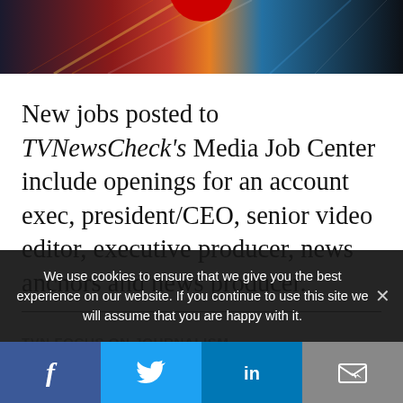[Figure (photo): Hero banner image with colorful light streaks and a red circle element at top center]
New jobs posted to TVNewsCheck's Media Job Center include openings for an account exec, president/CEO, senior video editor, executive producer, news anchors and news producer.
TVN FOCUS ON JOURNALISM
We use cookies to ensure that we give you the best experience on our website. If you continue to use this site we will assume that you are happy with it.